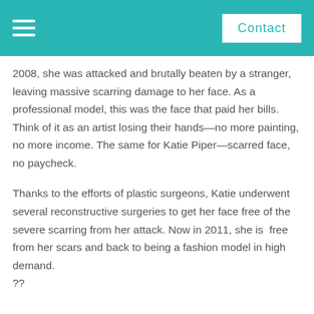Contact
2008, she was attacked and brutally beaten by a stranger, leaving massive scarring damage to her face. As a professional model, this was the face that paid her bills. Think of it as an artist losing their hands—no more painting, no more income. The same for Katie Piper—scarred face, no paycheck.
Thanks to the efforts of plastic surgeons, Katie underwent several reconstructive surgeries to get her face free of the severe scarring from her attack. Now in 2011, she is free from her scars and back to being a fashion model in high demand. ??